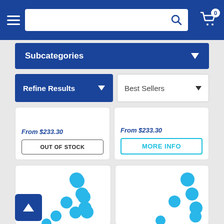Navigation header with hamburger menu, search box, and cart icon
Subcategories
Refine Results
Best Sellers
From $233.30
From $233.30
OUT OF STOCK
MORE INFO
[Figure (illustration): Product card with blue circular dots pattern suggesting a product image placeholder]
[Figure (illustration): Product card with blue circular dots pattern suggesting a product image placeholder]